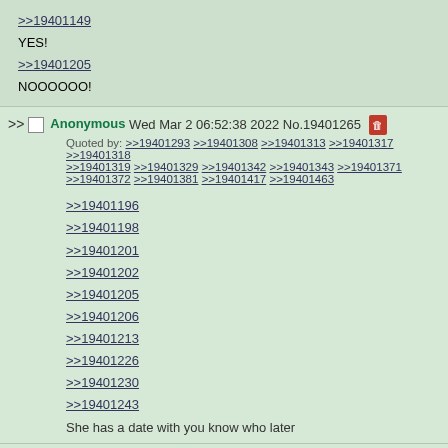>>19401149
YES!
>>19401205
NOOOOOO!
Anonymous Wed Mar 2 06:52:38 2022 No.19401265
Quoted by: >>19401293 >>19401308 >>19401313 >>19401317 >>19401318 >>19401319 >>19401329 >>19401342 >>19401343 >>19401371 >>19401372 >>19401381 >>19401417 >>19401463
>>19401196
>>19401198
>>19401201
>>19401202
>>19401205
>>19401206
>>19401213
>>19401226
>>19401230
>>19401243
She has a date with you know who later
Anonymous Wed Mar 2 06:52:38 2022 No.19401266
File: 389 KB, 1052x1043, 1617693584681.png [View same]